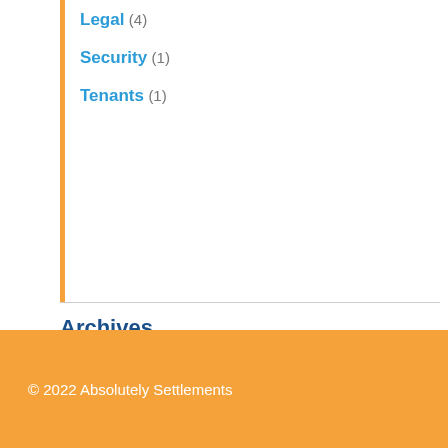Legal (4)
Security (1)
Tenants (1)
Archives
October 2014 (1)
September 2014 (1)
August 2014 (4)
© 2022 Absolutely Settlements